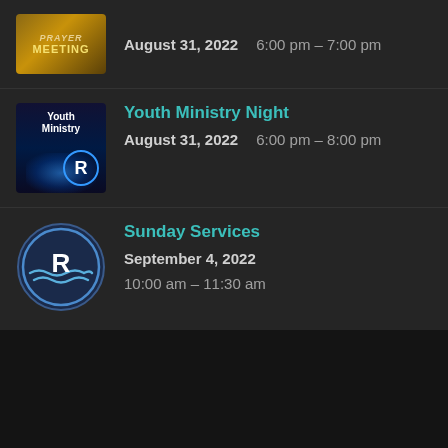[Figure (logo): Prayer Meeting thumbnail - golden/amber colored image with text PRAYER MEETING]
August 31, 2022    6:00 pm – 7:00 pm
[Figure (logo): Youth Ministry thumbnail - dark blue background with Youth Ministry text and glowing R logo]
Youth Ministry Night
August 31, 2022    6:00 pm – 8:00 pm
[Figure (logo): Circle logo with R letter and wave design for Riverbend church]
Sunday Services
September 4, 2022
10:00 am – 11:30 am